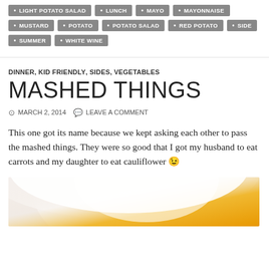LIGHT POTATO SALAD
LUNCH
MAYO
MAYONNAISE
MUSTARD
POTATO
POTATO SALAD
RED POTATO
SIDE
SUMMER
WHITE WINE
DINNER, KID FRIENDLY, SIDES, VEGETABLES
MASHED THINGS
MARCH 2, 2014   LEAVE A COMMENT
This one got its name because we kept asking each other to pass the mashed things. They were so good that I got my husband to eat carrots and my daughter to eat cauliflower 😉
[Figure (photo): Photo of a white plate with orange/yellow food (mashed vegetables), partially visible at bottom of page]